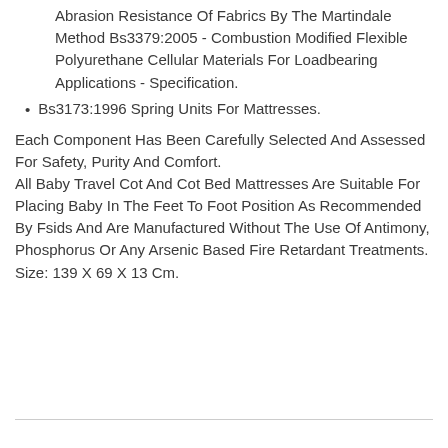Abrasion Resistance Of Fabrics By The Martindale Method Bs3379:2005 - Combustion Modified Flexible Polyurethane Cellular Materials For Loadbearing Applications - Specification.
Bs3173:1996 Spring Units For Mattresses.
Each Component Has Been Carefully Selected And Assessed For Safety, Purity And Comfort.
All Baby Travel Cot And Cot Bed Mattresses Are Suitable For Placing Baby In The Feet To Foot Position As Recommended By Fsids And Are Manufactured Without The Use Of Antimony, Phosphorus Or Any Arsenic Based Fire Retardant Treatments.
Size: 139 X 69 X 13 Cm.